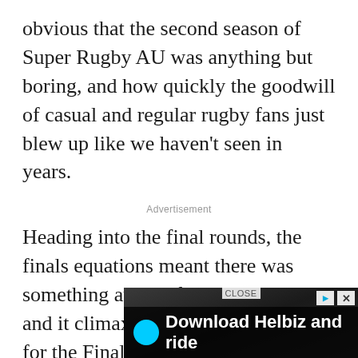obvious that the second season of Super Rugby AU was anything but boring, and how quickly the goodwill of casual and regular rugby fans just blew up like we haven't seen in years.
Advertisement
Heading into the final rounds, the finals equations meant there was something at play from every game, and it climaxed in incredible fashion for the Final in Brisbane.
And then the Final kicked off, and it became another thrilling Reds-Brumbies encounter and t
[Figure (screenshot): Advertisement banner for 'Download Helbiz and ride' with CLOSE button overlay and play/close icons]